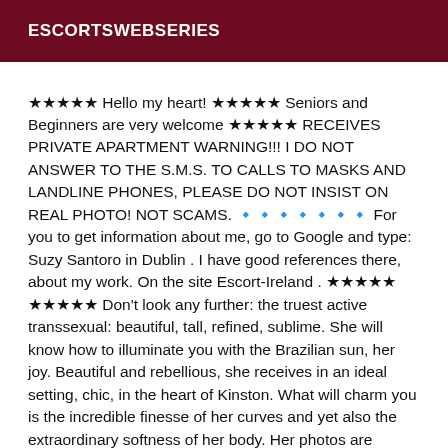ESCORTSWEBSERIES
★★★★★ Hello my heart! ★★★★★ Seniors and Beginners are very welcome ★★★★★ RECEIVES PRIVATE APARTMENT WARNING!!! I DO NOT ANSWER TO THE S.M.S. TO CALLS TO MASKS AND LANDLINE PHONES, PLEASE DO NOT INSIST ON REAL PHOTO! NOT SCAMS. 🔹🔹🔹🔹🔹🔹🔹 For you to get information about me, go to Google and type: Suzy Santoro in Dublin . I have good references there, about my work. On the site Escort-Ireland . ★★★★★ ★★★★★ Don't look any further: the truest active transsexual: beautiful, tall, refined, sublime. She will know how to illuminate you with the Brazilian sun, her joy. Beautiful and rebellious, she receives in an ideal setting, chic, in the heart of Kinston. What will charm you is the incredible finesse of her curves and yet also the extraordinary softness of her body. Her photos are natural. Always smiling, she takes her time to delight